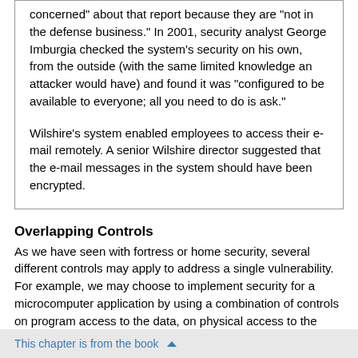concerned" about that report because they are "not in the defense business." In 2001, security analyst George Imburgia checked the system's security on his own, from the outside (with the same limited knowledge an attacker would have) and found it was "configured to be available to everyone; all you need to do is ask."

Wilshire's system enabled employees to access their e-mail remotely. A senior Wilshire director suggested that the e-mail messages in the system should have been encrypted.
Overlapping Controls
As we have seen with fortress or home security, several different controls may apply to address a single vulnerability. For example, we may choose to implement security for a microcomputer application by using a combination of controls on program access to the data, on physical access to the microcomputer and storage media, and even by file locking to control access to the processing
This chapter is from the book